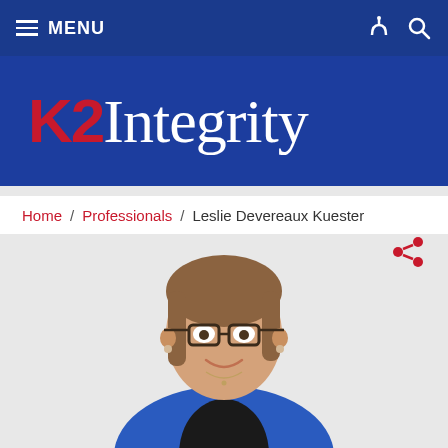MENU
[Figure (logo): K2 Integrity company logo with K2 in red bold and Integrity in white serif font on a dark blue background]
Home / Professionals / Leslie Devereaux Kuester
[Figure (photo): Professional headshot of Leslie Devereaux Kuester, a woman with brown hair and glasses wearing a blue blazer over a black top, smiling, against a light gray background]